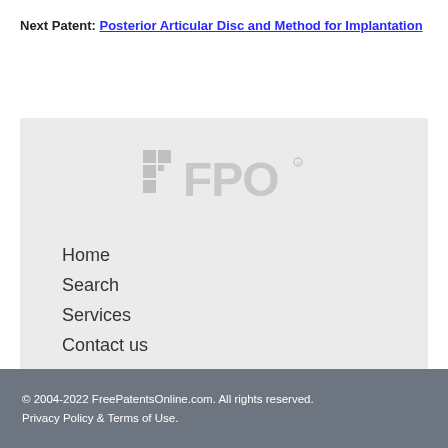Next Patent: Posterior Articular Disc and Method for Implantation
[Figure (logo): FPO logo — grey pixelated grid squares followed by bold FPO text with registered mark]
Home
Search
Services
Contact us
[Figure (infographic): Three blue rounded square social media icons: Twitter (t), LinkedIn (in), and Email (envelope)]
© 2004-2022 FreePatentsOnline.com. All rights reserved. Privacy Policy & Terms of Use.